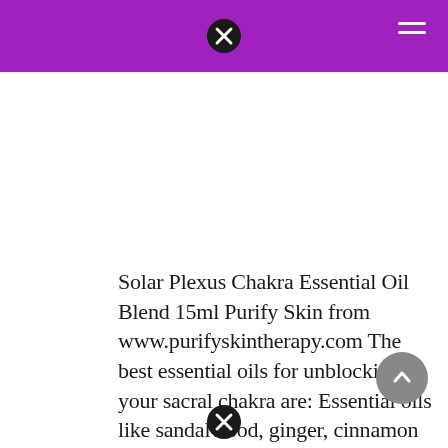Solar Plexus Chakra Essential Oil Blend 15ml Purify Skin from www.purifyskintherapy.com
The best essential oils for unblocking your sacral chakra are: Essential oils like sandalwood, ginger, cinnamon and saffron have reeled in. It is in our